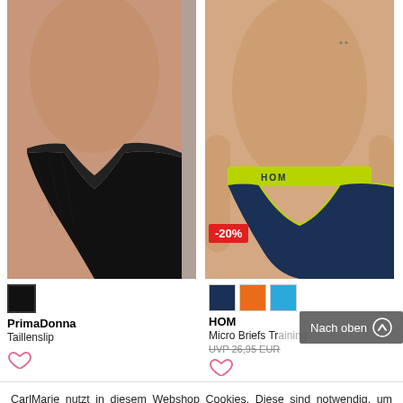[Figure (photo): Female model torso wearing black high-waist briefs (PrimaDonna Taillenslip)]
[Figure (photo): Male model torso wearing navy micro briefs with lime green waistband and HOM logo (HOM Micro Briefs Training), with -20% discount badge]
PrimaDonna
Taillenslip
HOM
Micro Briefs Training
UVP 26,95 EUR
CarlMarie nutzt in diesem Webshop Cookies. Diese sind notwendig, um bestimmte Funktionalitäten anbieten zu können. Außerdem nutzen wir Cookies für personalisierte Werbung auf Drittseiten. Mit Klick auf »OK« stimmen Sie der Verwendung von Cookies einschließlich der Übermittlung von Daten an unsere Marketingpartner zu. Weitere Informationen finden Sie in der Datenschutzerklärung